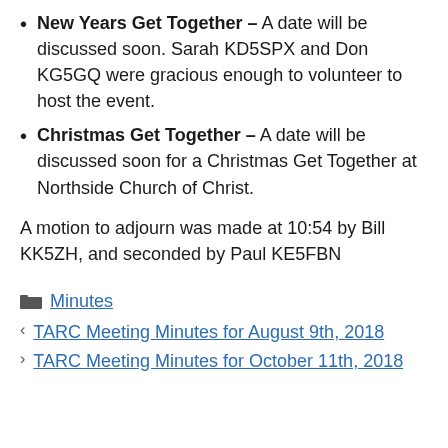New Years Get Together – A date will be discussed soon. Sarah KD5SPX and Don KG5GQ were gracious enough to volunteer to host the event.
Christmas Get Together – A date will be discussed soon for a Christmas Get Together at Northside Church of Christ.
A motion to adjourn was made at 10:54 by Bill KK5ZH, and seconded by Paul KE5FBN
Minutes
TARC Meeting Minutes for August 9th, 2018
TARC Meeting Minutes for October 11th, 2018